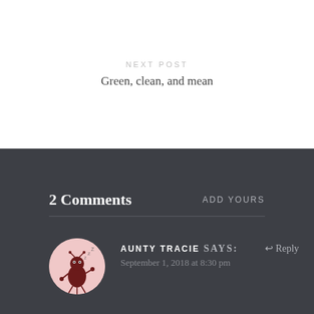NEXT POST
Green, clean, and mean
2 Comments
ADD YOURS
AUNTY TRACIE says:
September 1, 2018 at 8:30 pm